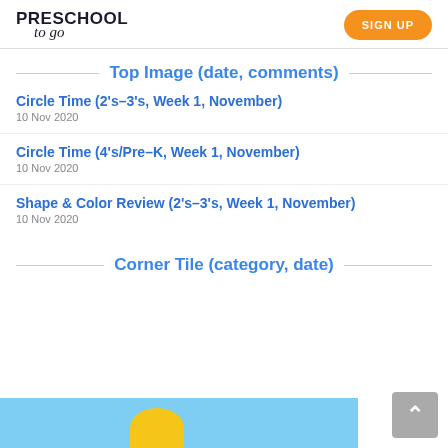PRESCHOOL to go | SIGN UP
Top Image (date, comments)
Circle Time (2's–3's, Week 1, November)
10 Nov 2020
Circle Time (4's/Pre–K, Week 1, November)
10 Nov 2020
Shape & Color Review (2's–3's, Week 1, November)
10 Nov 2020
Corner Tile (category, date)